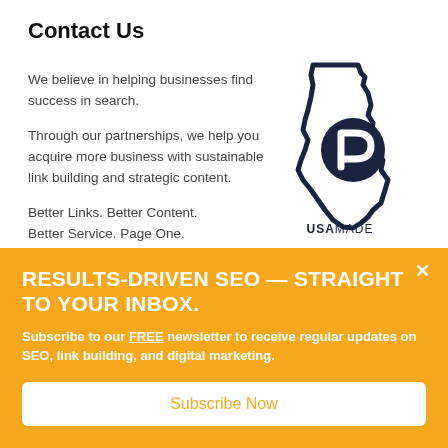Contact Us
We believe in helping businesses find success in search.

Through our partnerships, we help you acquire more business with sustainable link building and strategic content.

Better Links. Better Content. Better Service. Page One.
[Figure (logo): Idaho state outline with a circular 'P' logo inside and 'USAMADE' text at the bottom, in dark navy on white background]
RESULTS-DRIVEN SEO — STRAIGHT TO YOUR INBOX.
Subscribe to our FREE newsletter to receive regular updates on SEO, link building, and digital marketing.
Subscribe Now